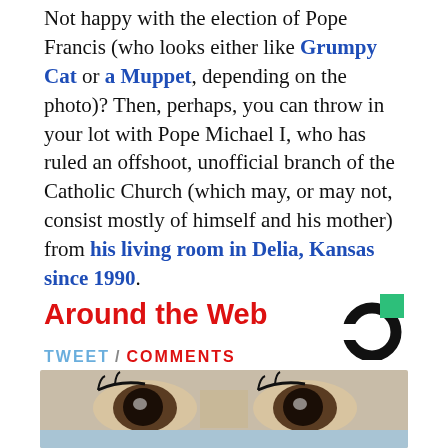Not happy with the election of Pope Francis (who looks either like Grumpy Cat or a Muppet, depending on the photo)? Then, perhaps, you can throw in your lot with Pope Michael I, who has ruled an offshoot, unofficial branch of the Catholic Church (which may, or may not, consist mostly of himself and his mother) from his living room in Delia, Kansas since 1990.
TWEET / COMMENTS
CATHOLIC CHURCH / EVERYTHING HAPPENS IN THE MIDWEST / KANSAS / NEWS / POPES / RELIGION
Around the Web
[Figure (logo): Circular logo with black ring and green square in upper right]
[Figure (photo): Close-up photo of a person's eyes looking upward, with mascara and light blue clothing visible]